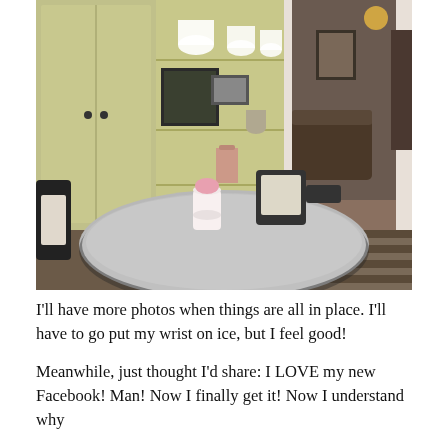[Figure (photo): Interior dining room photo showing a retro gray laminate table with black-trimmed chairs, a light yellow-green built-in shelving unit with decorative items and artwork, and an open doorway leading to a living room with hardwood floors and a striped area rug.]
I'll have more photos when things are all in place. I'll have to go put my wrist on ice, but I feel good!

Meanwhile, just thought I'd share: I LOVE my new Facebook! Man! Now I finally get it! Now I understand why